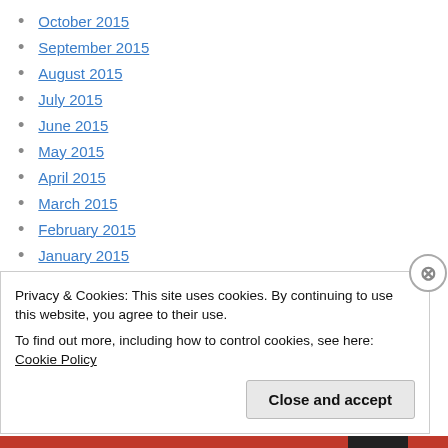October 2015
September 2015
August 2015
July 2015
June 2015
May 2015
April 2015
March 2015
February 2015
January 2015
December 2014
November 2014
Privacy & Cookies: This site uses cookies. By continuing to use this website, you agree to their use.
To find out more, including how to control cookies, see here: Cookie Policy
Close and accept